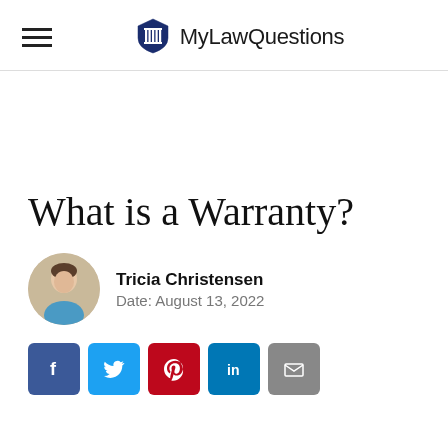MyLawQuestions
What is a Warranty?
Tricia Christensen
Date: August 13, 2022
[Figure (infographic): Social sharing buttons: Facebook, Twitter, Pinterest, LinkedIn, Email]